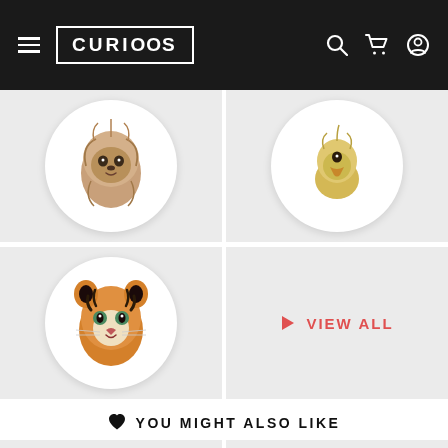CURIOOS navigation header with hamburger menu, logo, search, cart, and account icons
[Figure (photo): Circular product image of a baby sloth portrait on white background, set in a gray square card]
[Figure (photo): Circular product image of a baby duck/duckling portrait on white background, set in a gray square card]
[Figure (photo): Circular product image of a baby tiger portrait on white background, set in a gray square card]
▶ VIEW ALL
♥ YOU MIGHT ALSO LIKE
[Figure (photo): Partially visible product card, gray background, bottom of page]
[Figure (photo): Partially visible product card, gray background, bottom of page]